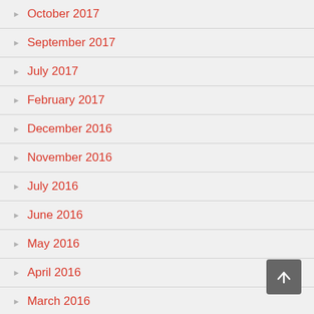October 2017
September 2017
July 2017
February 2017
December 2016
November 2016
July 2016
June 2016
May 2016
April 2016
March 2016
February 2016